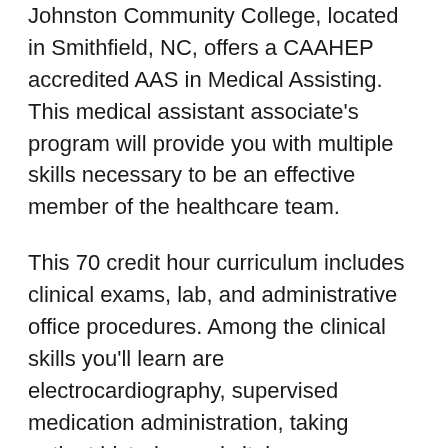Johnston Community College, located in Smithfield, NC, offers a CAAHEP accredited AAS in Medical Assisting. This medical assistant associate's program will provide you with multiple skills necessary to be an effective member of the healthcare team.
This 70 credit hour curriculum includes clinical exams, lab, and administrative office procedures. Among the clinical skills you'll learn are electrocardiography, supervised medication administration, taking patient histories and vitals. Administratively, you'll study medical coding, insurance and reimbursement, ethics, and more. Medical terminology, anatomy and physiology, diet and nutrition therapy, patient education, writing, and communication are some of the subjects included.
You can pursue this degree with online, day, or evening